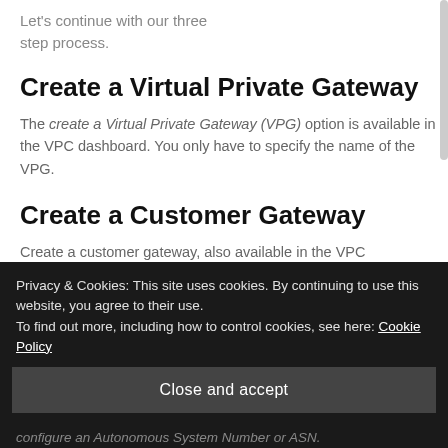Let's continue with our three step process.
Create a Virtual Private Gateway
The create a Virtual Private Gateway (VPG) option is available in the VPC dashboard. You only have to specify the name of the VPG.
Create a Customer Gateway
Create a customer gateway, also available in the VPC dashboard, requires three input parameters:
Privacy & Cookies: This site uses cookies. By continuing to use this website, you agree to their use.
To find out more, including how to control cookies, see here: Cookie Policy
Close and accept
configure an Autonomous System Number or ASN.